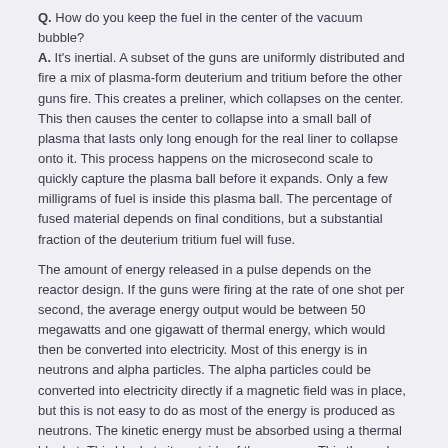Q. How do you keep the fuel in the center of the vacuum bubble?
A. It's inertial. A subset of the guns are uniformly distributed and fire a mix of plasma-form deuterium and tritium before the other guns fire. This creates a preliner, which collapses on the center. This then causes the center to collapse into a small ball of plasma that lasts only long enough for the real liner to collapse onto it. This process happens on the microsecond scale to quickly capture the plasma ball before it expands. Only a few milligrams of fuel is inside this plasma ball. The percentage of fused material depends on final conditions, but a substantial fraction of the deuterium tritium fuel will fuse.
The amount of energy released in a pulse depends on the reactor design. If the guns were firing at the rate of one shot per second, the average energy output would be between 50 megawatts and one gigawatt of thermal energy, which would then be converted into electricity. Most of this energy is in neutrons and alpha particles. The alpha particles could be converted into electricity directly if a magnetic field was in place, but this is not easy to do as most of the energy is produced as neutrons. The kinetic energy must be absorbed using a thermal blanket. This blanket sits outside of the vacuum. This thermal blanket is hooked up to a steam cycle where molten salt absorbs the energy, which is then cycled through a heat exchanger. This converts water into steam to drive a generator.
Because the guns fire in pulses, there is no helium ash problem. The chamber is completely evacuated between